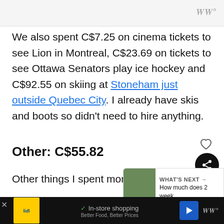WW°
We also spent C$7.25 on cinema tickets to see Lion in Montreal, C$23.69 on tickets to see Ottawa Senators play ice hockey and C$92.55 on skiing at Stoneham just outside Quebec City. I already have skis and boots so didn't need to hire anything.
Other: C$55.82
Other things I spent money on were plasters needed during the first day of our van conversion and I treated myself to a much ov…
[Figure (screenshot): What's Next overlay with thumbnail image and text 'How much does 2 week...']
[Figure (infographic): Lidl advertisement bar at bottom with in-store shopping text, navigation icon, and WW logo]